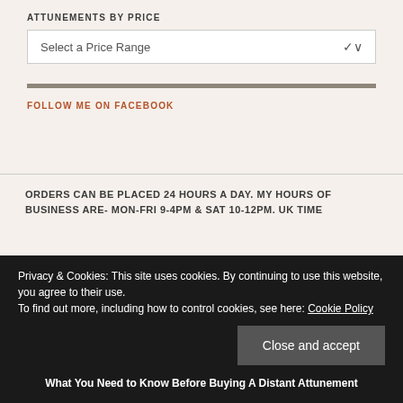ATTUNEMENTS BY PRICE
Select a Price Range
FOLLOW ME ON FACEBOOK
ORDERS CAN BE PLACED 24 HOURS A DAY. MY HOURS OF BUSINESS ARE- MON-FRI 9-4PM & SAT 10-12PM. UK TIME
Privacy & Cookies: This site uses cookies. By continuing to use this website, you agree to their use.
To find out more, including how to control cookies, see here: Cookie Policy
Close and accept
What You Need to Know Before Buying A Distant Attunement